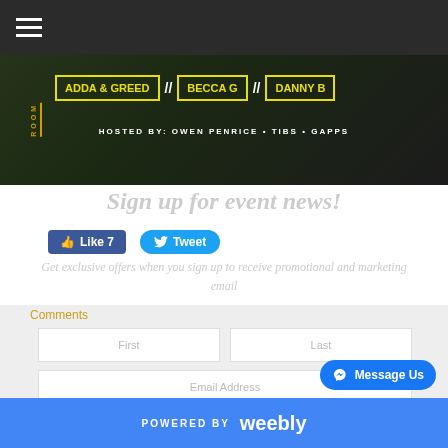[Figure (screenshot): Dark navigation bar with hamburger menu icon (three horizontal lines) in white on dark background]
[Figure (screenshot): Event banner showing artist names ADDA & GREED // BECCA G // DANNY B in yellow boxes, with ROOM text vertical on left, and HOSTED BY: OWEN PENRICE • TIBS • GAPPS below]
Sign up for event news!
[Figure (screenshot): Facebook Like button showing 7 likes and Twitter Tweet button in blue]
Get exclusive offers when you sign up to receive promotional and marketing email
Comments
[Figure (screenshot): Web form with First and Last name input fields, Email Address field, and Subscribe button in light gray]
[Figure (screenshot): Message Us button with Facebook Messenger icon in bottom right]
POWERED BY weebly